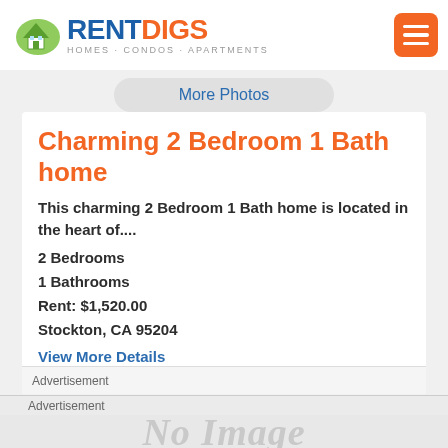[Figure (logo): RentDigs logo with house icon, RENT in blue, DIGS in orange, subtitle HOMES · CONDOS · APARTMENTS]
[Figure (other): Orange hamburger menu button with three white lines]
More Photos
Charming 2 Bedroom 1 Bath home
This charming 2 Bedroom 1 Bath home is located in the heart of....
2 Bedrooms
1 Bathrooms
Rent: $1,520.00
Stockton, CA 95204
View More Details
Advertisement
Advertisement
[Figure (other): No Image watermark placeholder]